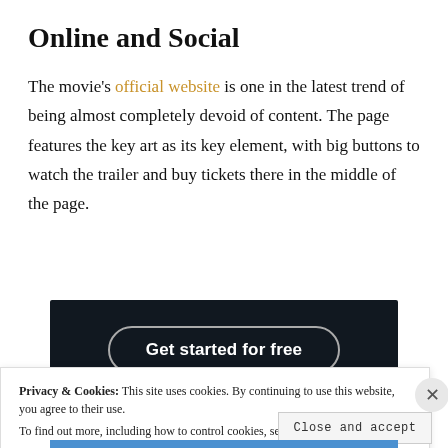Online and Social
The movie's official website is one in the latest trend of being almost completely devoid of content. The page features the key art as its key element, with big buttons to watch the trailer and buy tickets there in the middle of the page.
[Figure (screenshot): Dark background UI screenshot showing a 'Get started for free' button with rounded border on a near-black background.]
Privacy & Cookies: This site uses cookies. By continuing to use this website, you agree to their use.
To find out more, including how to control cookies, see here: Cookie Policy
Close and accept